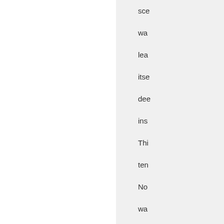sce wa lea itse dee ins Thi ten No wa to pot los this thr the cat qui tra do the dog Se of the